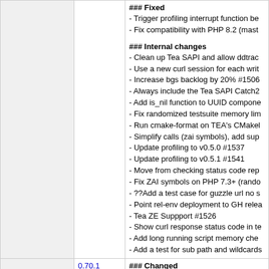|  | Version | Changes |
| --- | --- | --- |
|  |  | ### Fixed
- Trigger profiling interrupt function be...
- Fix compatibility with PHP 8.2 (mast...

### Internal changes
- Clean up Tea SAPI and allow ddtrac...
- Use a new curl session for each writ...
- Increase bgs backlog by 20% #1506...
- Always include the Tea SAPI Catch2...
- Add is_nil function to UUID compone...
- Fix randomized testsuite memory lim...
- Run cmake-format on TEA's CMakel...
- Simplify calls (zai symbols), add sup...
- Update profiling to v0.5.0 #1537
- Update profiling to v0.5.1 #1541
- Move from checking status code rep...
- Fix ZAI symbols on PHP 7.3+ (rando...
- ??Add a test case for guzzle url no s...
- Point rel-env deployment to GH relea...
- Tea ZE Suppport #1526
- Show curl response status code in te...
- Add long running script memory che...
- Add a test for sub path and wildcards... |
|  | 0.70.1 | ### Changed
- Disable x-datadog-tags header prop...
### Fixed
- Fix Laravel exceptions being over-re...
- Fix too aggressive symbol supp... |